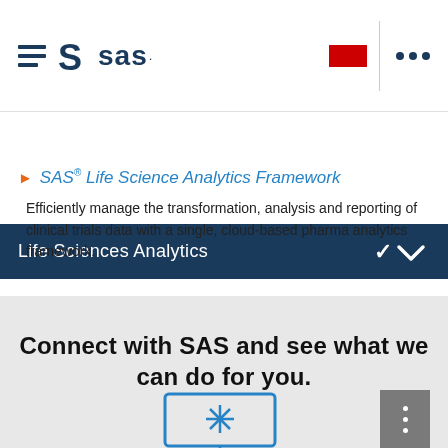[Figure (logo): SAS logo with hamburger menu icon on the left and three dots navigation on the right with a red rectangle]
Life Sciences Analytics
SAS® Life Science Analytics Framework
Efficiently manage the transformation, analysis and reporting of clinical trials data with a single, cloud-based pharma analytics framework.
Connect with SAS and see what we can do for you.
[Figure (screenshot): Dark gray vertical three-dot menu button and a partial monitor/computer icon with snowflake-like symbol]